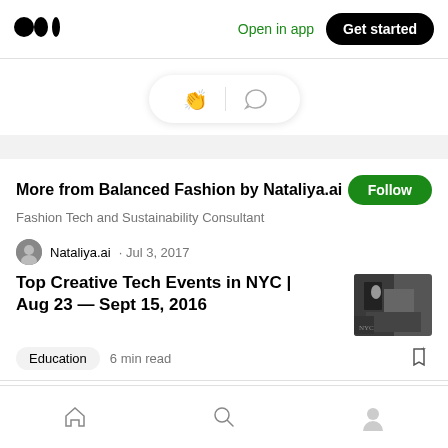[Figure (logo): Medium logo — three dots]
Open in app
Get started
[Figure (illustration): Clap and comment icon action bar]
More from Balanced Fashion by Nataliya.ai
Follow
Fashion Tech and Sustainability Consultant
Nataliya.ai · Jul 3, 2017
Top Creative Tech Events in NYC | Aug 23 — Sept 15, 2016
[Figure (photo): Thumbnail image of people at a tech event]
Education  6 min read